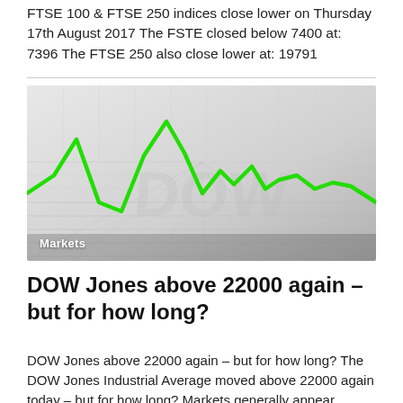FTSE 100 & FTSE 250 indices close lower on Thursday 17th August 2017 The FSTE closed below 7400 at: 7396 The FTSE 250 also close lower at: 19791
[Figure (illustration): Stylized 3D grid-floor background with a bright green stock market line chart showing peaks and troughs, with 'Markets' label overlay in white text at bottom-left.]
DOW Jones above 22000 again – but for how long?
DOW Jones above 22000 again – but for how long? The DOW Jones Industrial Average moved above 22000 again today – but for how long? Markets generally appear calmer for